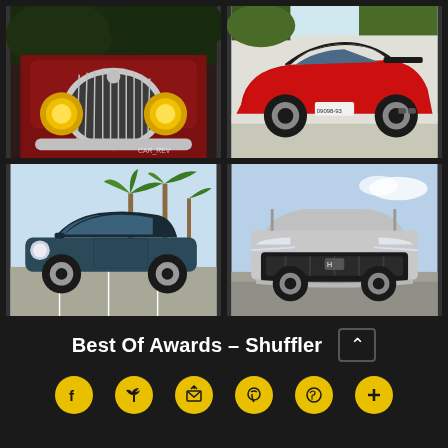[Figure (photo): Top-left: Close-up front view of a classic dark red/maroon vintage car with chrome grille and yellow round headlights]
[Figure (photo): Top-right: Rear three-quarter view of a modern red Nissan Z sports car in a parking lot]
[Figure (photo): Bottom-left: Dark teal MINI Cooper convertible with open top in a parking lot with palm trees]
[Figure (photo): Bottom-right: Front view of a silver Hyundai Tucson SUV in a parking lot]
Best Of Awards – Shuffler
[Figure (infographic): Social sharing icons row: Facebook, Twitter, Email/Share, Pinterest, WhatsApp, Plus]